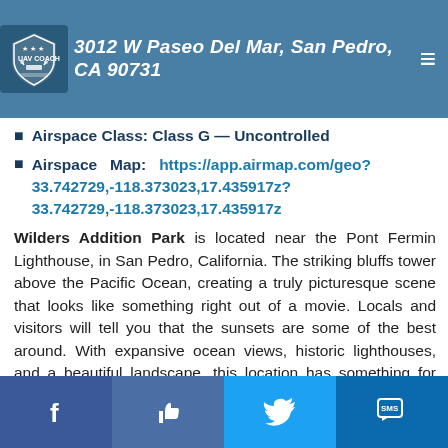3012 W Paseo Del Mar, San Pedro, CA 90731
Airspace Class: Class G — Uncontrolled
Airspace Map: https://app.airmap.com/geo?33.742729,-118.373023,17.435917z?33.742729,-118.373023,17.435917z
Wilders Addition Park is located near the Pont Fermin Lighthouse, in San Pedro, California. The striking bluffs tower above the Pacific Ocean, creating a truly picturesque scene that looks like something right out of a movie. Locals and visitors will tell you that the sunsets are some of the best around. With expansive ocean views, historic lighthouses, and a beautiful landscape, this location has something for every drone pilot to enjoy.
Social links: Facebook, Like, Twitter, Message